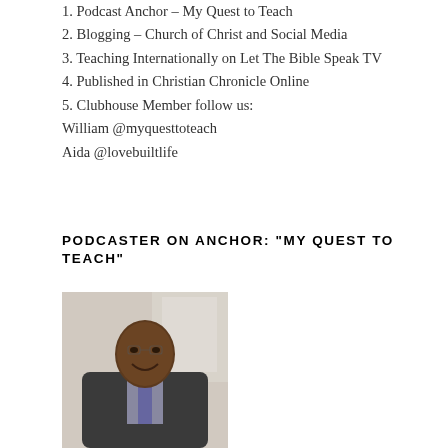1. Podcast Anchor – My Quest to Teach
2. Blogging – Church of Christ and Social Media
3. Teaching Internationally on Let The Bible Speak TV
4. Published in Christian Chronicle Online
5. Clubhouse Member follow us:
William @myquesttoteach
Aida @lovebuiltlife
PODCASTER ON ANCHOR: “MY QUEST TO TEACH”
[Figure (photo): Portrait photo of a smiling man in a dark suit and tie, in an indoor setting with a bright window in the background]